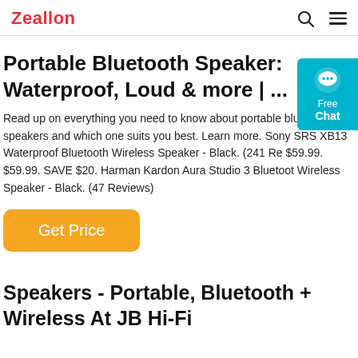Zealkon
Portable Bluetooth Speaker: Waterproof, Loud & more | ...
Read up on everything you need to know about portable blue speakers and which one suits you best. Learn more. Sony SRS XB13 Waterproof Bluetooth Wireless Speaker - Black. (241 Reviews) $59.99. $59.99. SAVE $20. Harman Kardon Aura Studio 3 Bluetooth Wireless Speaker - Black. (47 Reviews)
[Figure (other): Free Chat widget button in teal/cyan color with chat bubble icon]
Get Price
Speakers - Portable, Bluetooth + Wireless At JB Hi-Fi